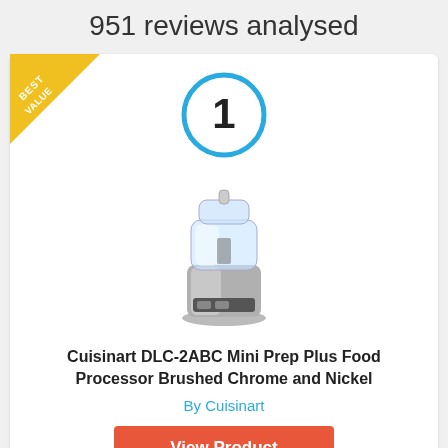951 reviews analysed
[Figure (illustration): Best Value banner ribbon in top-left corner of product card, gold/yellow diagonal ribbon with white text 'BEST VALUE']
[Figure (illustration): Blue circle with number 1 inside, ranking indicator]
[Figure (photo): Cuisinart DLC-2ABC Mini Prep Plus Food Processor in Brushed Chrome and Nickel finish]
Cuisinart DLC-2ABC Mini Prep Plus Food Processor Brushed Chrome and Nickel
By Cuisinart
View Product
9.6